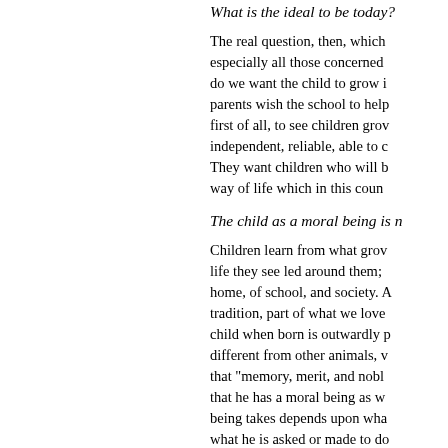What is the ideal to be today?
The real question, then, which especially all those concerned do we want the child to grow i parents wish the school to help first of all, to see children grov independent, reliable, able to c They want children who will b way of life which in this coun
The child as a moral being is n
Children learn from what grov life they see led around them; home, of school, and society. A tradition, part of what we love child when born is outwardly p different from other animals, v that "memory, merit, and nob that he has a moral being as w being takes depends upon wha what he is asked or made to do customs in which he finds him
An accepted ideal